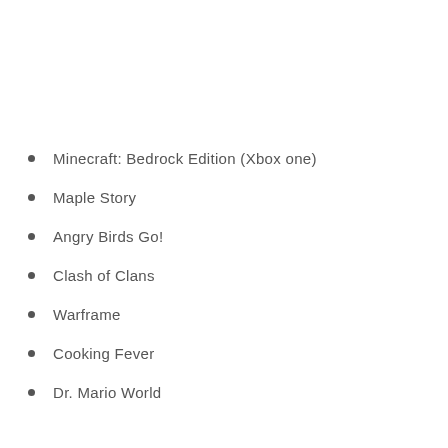Minecraft: Bedrock Edition (Xbox one)
Maple Story
Angry Birds Go!
Clash of Clans
Warframe
Cooking Fever
Dr. Mario World